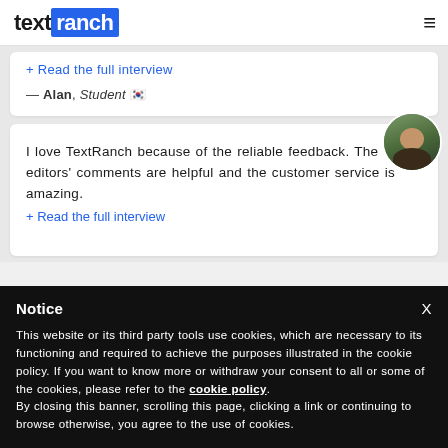textranch
+ Read the full interview
— Alan, Student 🇰🇷
I love TextRanch because of the reliable feedback. The editors' comments are helpful and the customer service is amazing.
+ Read the full interview
Notice
This website or its third party tools use cookies, which are necessary to its functioning and required to achieve the purposes illustrated in the cookie policy. If you want to know more or withdraw your consent to all or some of the cookies, please refer to the cookie policy. By closing this banner, scrolling this page, clicking a link or continuing to browse otherwise, you agree to the use of cookies.